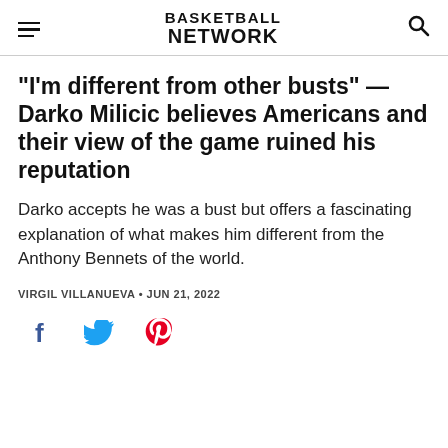BASKETBALL NETWORK
"I'm different from other busts" — Darko Milicic believes Americans and their view of the game ruined his reputation
Darko accepts he was a bust but offers a fascinating explanation of what makes him different from the Anthony Bennets of the world.
VIRGIL VILLANUEVA • JUN 21, 2022
[Figure (infographic): Social sharing icons: Facebook (blue), Twitter (blue), Pinterest (red)]